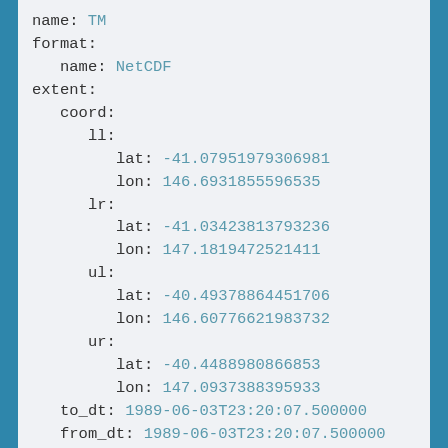name: TM
format:
  name: NetCDF
extent:
  coord:
    ll:
      lat: -41.07951979306981
      lon: 146.6931855596535
    lr:
      lat: -41.03423813793236
      lon: 147.1819472521411
    ul:
      lat: -40.49378864451706
      lon: 146.60776621983732
    ur:
      lat: -40.4488980866853
      lon: 147.0937388395933
  to_dt: 1989-06-03T23:20:07.500000
  from_dt: 1989-06-03T23:20:07.500000
  center_dt: 1989-06-03T23:20:07.500000